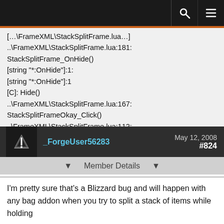[navigation bar with search and menu icons]
..\ FrameXML\StackSplitFrame.lua:181: StackSplitFrame_OnHide()
[string "*:OnHide"]:1:
[string "*:OnHide"]:1
[C]: Hide()
..\FrameXML\StackSplitFrame.lua:167: StackSplitFrameOkay_Click()
..\FrameXML\StackSplitFrame.lua:112: StackSplitFrame_OnKeyDown()
[string "*:OnKeyDown"]:1:
[string "*:OnKeyDown"]:1
_ForgeUser56283   May 12, 2008   #824
Member Details
I'm pretty sure that's a Blizzard bug and will happen with any bag addon when you try to split a stack of items while holding